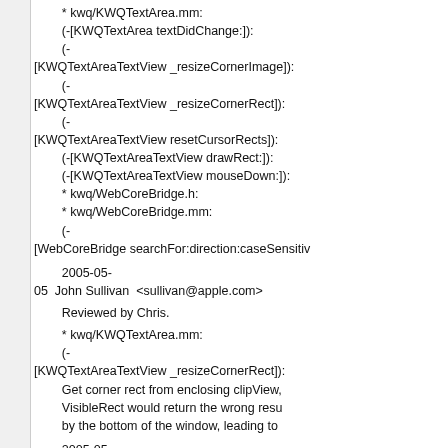* kwq/KWQTextArea.mm:
        (-[KWQTextArea textDidChange:]):
        (-
[KWQTextAreaTextView _resizeCornerImage]):
        (-
[KWQTextAreaTextView _resizeCornerRect]):
        (-
[KWQTextAreaTextView resetCursorRects]):
        (-[KWQTextAreaTextView drawRect:]):
        (-[KWQTextAreaTextView mouseDown:]):
        * kwq/WebCoreBridge.h:
        * kwq/WebCoreBridge.mm:
        (-
[WebCoreBridge searchFor:direction:caseSensitiv
2005-05-
05  John Sullivan  <sullivan@apple.com>
Reviewed by Chris.
* kwq/KWQTextArea.mm:
        (-
[KWQTextAreaTextView _resizeCornerRect]):
        Get corner rect from enclosing clipView,
        VisibleRect would return the wrong resu
        by the bottom of the window, leading to
2005-05-
02  John Sullivan  <sullivan@apple.com>